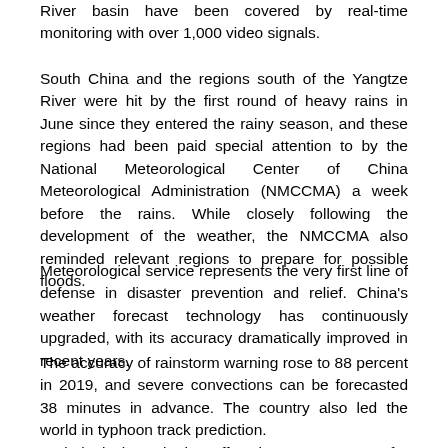River basin have been covered by real-time monitoring with over 1,000 video signals.
South China and the regions south of the Yangtze River were hit by the first round of heavy rains in June since they entered the rainy season, and these regions had been paid special attention to by the National Meteorological Center of China Meteorological Administration (NMCCMA) a week before the rains. While closely following the development of the weather, the NMCCMA also reminded relevant regions to prepare for possible floods.
Meteorological service represents the very first line of defense in disaster prevention and relief. China's weather forecast technology has continuously upgraded, with its accuracy dramatically improved in recent years.
The accuracy of rainstorm warning rose to 88 percent in 2019, and severe convections can be forecasted 38 minutes in advance. The country also led the world in typhoon track prediction.
Hydrological monitoring offers important support for flood prevention.